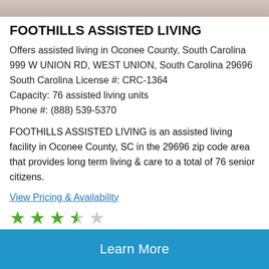[Figure (photo): Top strip of a photo showing an elderly person, partially cropped]
FOOTHILLS ASSISTED LIVING
Offers assisted living in Oconee County, South Carolina
999 W UNION RD, WEST UNION, South Carolina 29696
South Carolina License #: CRC-1364
Capacity: 76 assisted living units
Phone #: (888) 539-5370
FOOTHILLS ASSISTED LIVING is an assisted living facility in Oconee County, SC in the 29696 zip code area that provides long term living & care to a total of 76 senior citizens.
View Pricing & Availability
[Figure (infographic): 3.5 out of 5 stars rating shown as green filled stars and grey empty star]
Learn More